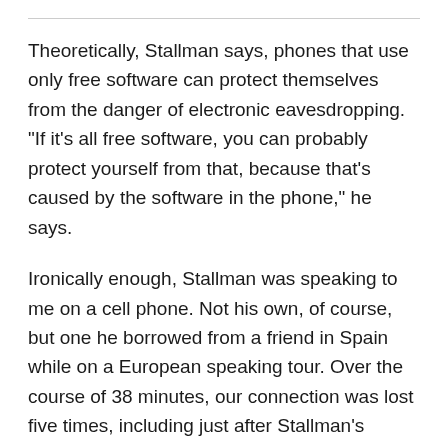Theoretically, Stallman says, phones that use only free software can protect themselves from the danger of electronic eavesdropping. "If it's all free software, you can probably protect yourself from that, because that's caused by the software in the phone," he says.
Ironically enough, Stallman was speaking to me on a cell phone. Not his own, of course, but one he borrowed from a friend in Spain while on a European speaking tour. Over the course of 38 minutes, our connection was lost five times, including just after Stallman's comments about electronic eavesdropping and free software for phones. We tried to connect again several hours later but were unable to complete